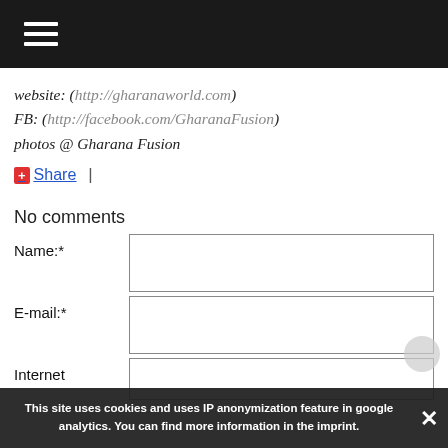Navigation menu (hamburger icon)
website: (http://gharanaworld.com)
FB: (http://facebook.com/GharanaFusion)
photos @ Gharana Fusion
+ Share |
No comments
Name:*
E-mail:*
Internet
This site uses cookies and uses IP anonymization feature in google analytics. You can find more information in the imprint.